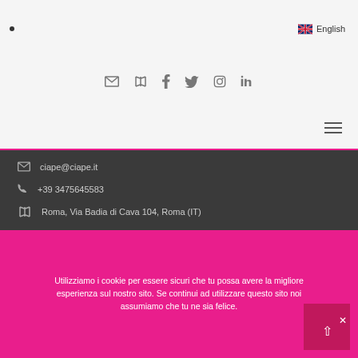• English
[Figure (infographic): Social media icon bar: email/envelope, map/book, Facebook, Twitter, Instagram, LinkedIn]
[Figure (infographic): Hamburger menu icon (three horizontal lines) aligned right]
ciape@ciape.it
+39 3475645583
Roma, Via Badia di Cava 104, Roma (IT)
[Figure (infographic): Dark footer social icons: Facebook, Twitter, LinkedIn, Instagram]
Utilizziamo i cookie per essere sicuri che tu possa avere la migliore esperienza sul nostro sito. Se continui ad utilizzare questo sito noi assumiamo che tu ne sia felice.